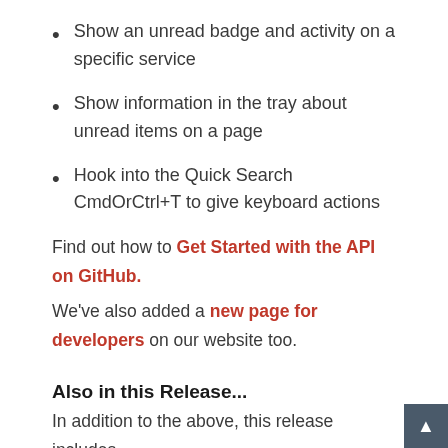Show an unread badge and activity on a specific service
Show information in the tray about unread items on a page
Hook into the Quick Search CmdOrCtrl+T to give keyboard actions
Find out how to Get Started with the API on GitHub.
We've also added a new page for developers on our website too.
Also in this Release...
In addition to the above, this release includes